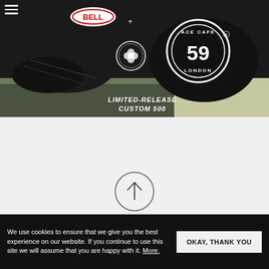[Figure (photo): Motorcycle helmets on a workbench. A Bell helmet with 'Ace Cafe London 59' branding is visible. Text overlay reads 'LIMITED-RELEASE CUSTOM 500' with a Bell logo and a clover/shamrock badge. Dark industrial background.]
[Figure (other): Up arrow inside a thin circle, centered on light gray background — a scroll-to-top button.]
We use cookies to ensure that we give you the best experience on our website. If you continue to use this site we will assume that you are happy with it. More.